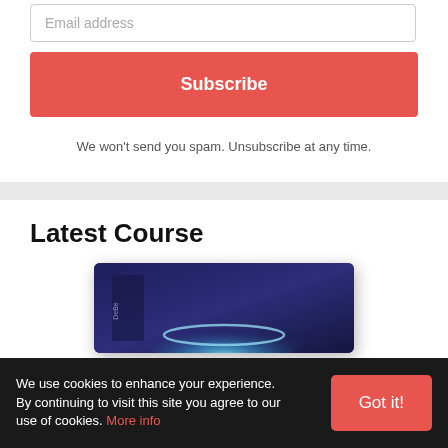Email address
Subscribe
We won't send you spam. Unsubscribe at any time.
Latest Course
[Figure (photo): Dark navy blue rectangular product box with a glowing blue arc/circle light effect on the front]
We use cookies to enhance your experience. By continuing to visit this site you agree to our use of cookies. More info